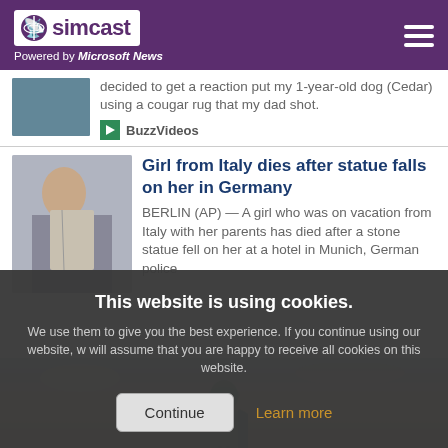simcast — Powered by Microsoft News
decided to get a reaction put my 1-year-old dog (Cedar) using a cougar rug that my dad shot.
BuzzVideos
Girl from Italy dies after statue falls on her in Germany
BERLIN (AP) — A girl who was on vacation from Italy with her parents has died after a stone statue fell on her at a hotel in Munich, German police
This website is using cookies. We use them to give you the best experience. If you continue using our website, we will assume that you are happy to receive all cookies on this website.
[Figure (photo): Statue figure against cloudy sky]
[Figure (photo): Person reading a book]
[Figure (photo): Blue textured surface thumbnail]